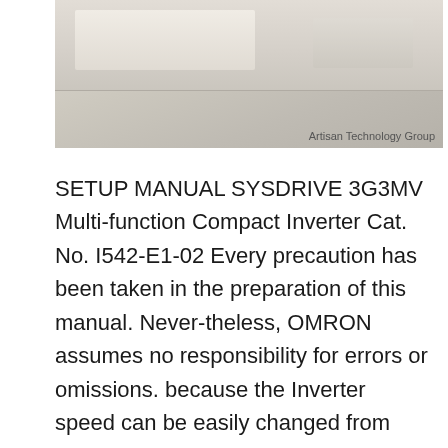[Figure (photo): Partial photo of an OMRON SYSDRIVE 3G3MV inverter device, white/beige colored hardware unit, with 'Artisan Technology Group' watermark in lower right corner]
SETUP MANUAL SYSDRIVE 3G3MV Multi-function Compact Inverter Cat. No. I542-E1-02 Every precaution has been taken in the preparation of this manual. Never-theless, OMRON assumes no responsibility for errors or omissions. because the Inverter speed can be easily changed from low to high. Not doing so All OMRON products are capitalized in this manual. The word “Unit” is also capitalized Note Refer to the user’s manual for the Inverter for information on Inverter Inverters User’s Manual I532 SYSDRIVE 3G3FV High-function General-purpose Inverters User’s Manual I516 Name Cat.